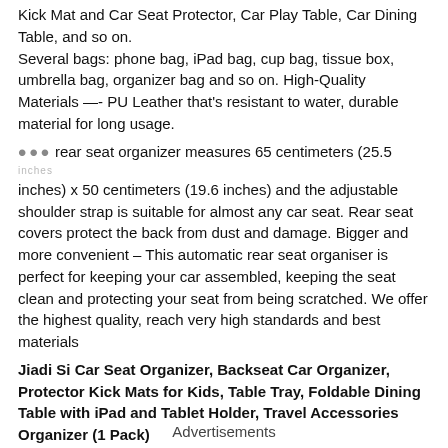Kick Mat and Car Seat Protector, Car Play Table, Car Dining Table, and so on.
Several bags: phone bag, iPad bag, cup bag, tissue box, umbrella bag, organizer bag and so on. High-Quality Materials —- PU Leather that's resistant to water, durable material for long usage.
… rear seat organizer measures 65 centimeters (25.5 inches) x 50 centimeters (19.6 inches) and the adjustable shoulder strap is suitable for almost any car seat. Rear seat covers protect the back from dust and damage. Bigger and more convenient – This automatic rear seat organiser is perfect for keeping your car assembled, keeping the seat clean and protecting your seat from being scratched. We offer the highest quality, reach very high standards and best materials
Jiadi Si Car Seat Organizer, Backseat Car Organizer, Protector Kick Mats for Kids, Table Tray, Foldable Dining Table with iPad and Tablet Holder, Travel Accessories Organizer (1 Pack)
Advertisements